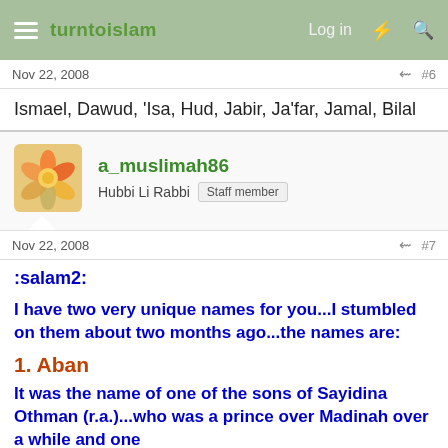turntoislam — Log in
Nov 22, 2008  #6
Ismael, Dawud, 'Isa, Hud, Jabir, Ja'far, Jamal, Bilal
a_muslimah86
Hubbi Li Rabbi  Staff member
Nov 22, 2008  #7
:salam2:
I have two very unique names for you...I stumbled on them about two months ago...the names are:
1. Aban
It was the name of one of the sons of Sayidina Othman (r.a.)...who was a prince over Madinah over a while and one